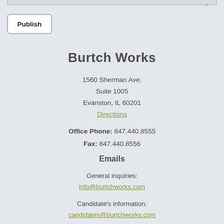[Figure (screenshot): Partial text area widget stub at top of page with resize handle]
Publish
Burtch Works
1560 Sherman Ave.
Suite 1005
Evanston, IL 60201
Directions
Office Phone: 847.440.8555
Fax: 847.440.8556
Emails
General inquiries:
info@burtchworks.com
Candidate's information:
candidates@burtchworks.com
Client's information:
clients@burtchworks.com